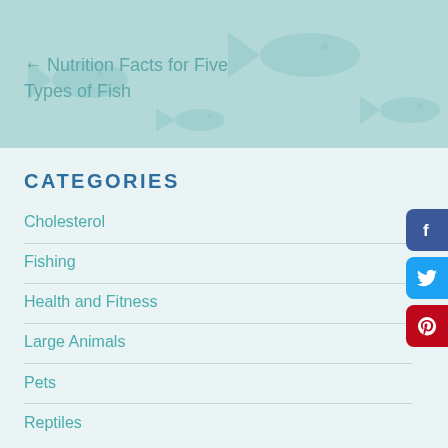[Figure (illustration): Light teal banner with fish watermark background]
← Nutrition Facts for Five Types of Fish
CATEGORIES
Cholesterol
Fishing
Health and Fitness
Large Animals
Pets
Reptiles